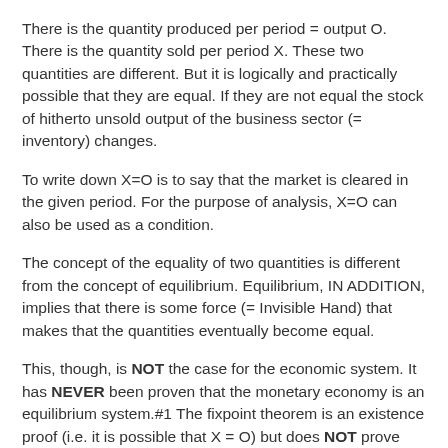There is the quantity produced per period = output O. There is the quantity sold per period X. These two quantities are different. But it is logically and practically possible that they are equal. If they are not equal the stock of hitherto unsold output of the business sector (= inventory) changes.
To write down X=O is to say that the market is cleared in the given period. For the purpose of analysis, X=O can also be used as a condition.
The concept of the equality of two quantities is different from the concept of equilibrium. Equilibrium, IN ADDITION, implies that there is some force (= Invisible Hand) that makes that the quantities eventually become equal.
This, though, is NOT the case for the economic system. It has NEVER been proven that the monetary economy is an equilibrium system.#1 The fixpoint theorem is an existence proof (i.e. it is possible that X = O) but does NOT prove that X = O is realizable.
Time to take notice that equilibrium is a dead concept, in